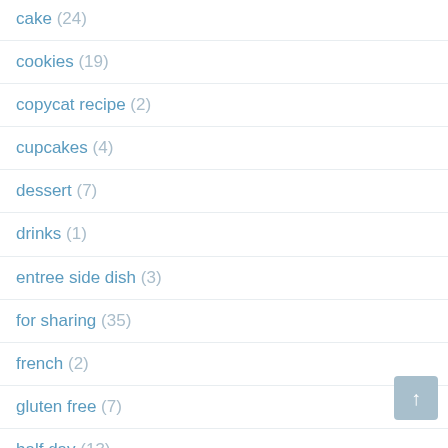cake (24)
cookies (19)
copycat recipe (2)
cupcakes (4)
dessert (7)
drinks (1)
entree side dish (3)
for sharing (35)
french (2)
gluten free (7)
half day (13)
overnight (6)
pie (9)
references (4)